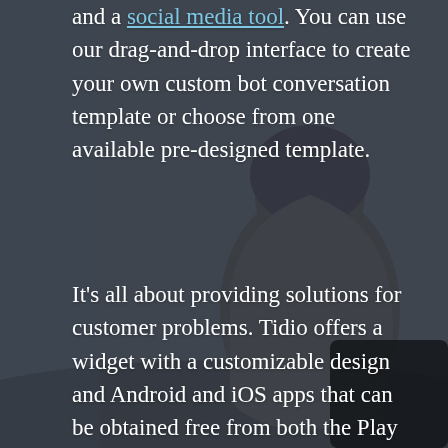[Figure (photo): Dark background photo of a person in a hooded jacket viewed from behind, facing a grey overcast sky and landscape. Semi-transparent dark overlay covers the image.]
and a social media tool. You can use our drag-and-drop interface to create your own custom bot conversation template or choose from one available pre-designed template.
It's all about providing solutions for customer problems. Tidio offers a widget with a customizable design and Android and iOS apps that can be obtained free from both the Play Store and App Store.
This plugin uses live online chat and bots to provide the best level of stability if you do not have the time to provide support to your clients 24/7. It comes with a widget that supports 180 languages.